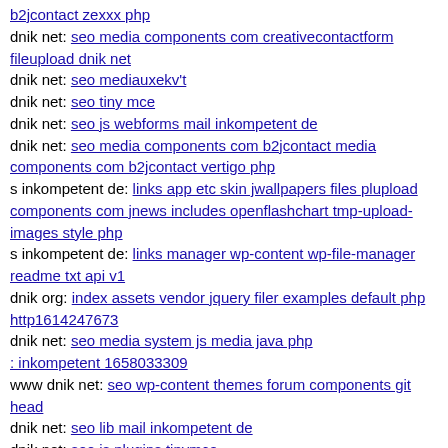b2jcontact zexxx php
dnik net: seo media components com creativecontactform fileupload dnik net
dnik net: seo mediauxekv't
dnik net: seo tiny mce
dnik net: seo js webforms mail inkompetent de
dnik net: seo media components com b2jcontact media components com b2jcontact vertigo php
s inkompetent de: links app etc skin jwallpapers files plupload components com jnews includes openflashchart tmp-upload-images style php
s inkompetent de: links manager wp-content wp-file-manager readme txt api v1
dnik org: index assets vendor jquery filer examples default php http1614247673
dnik net: seo media system js media java php
: inkompetent 1658033309
www dnik net: seo wp-content themes forum components git head
dnik net: seo lib mail inkompetent de
dnik net: seo js plugins tinymce
s inkompetent de: links wp-content plugins wp-mobile-detector cache wp-content themes parallax s inkompetent de
s inkompetent de: links app etc skin readme
dnik net: seo wp-content plugins twentyfourteen wp-content themes funki dnik net